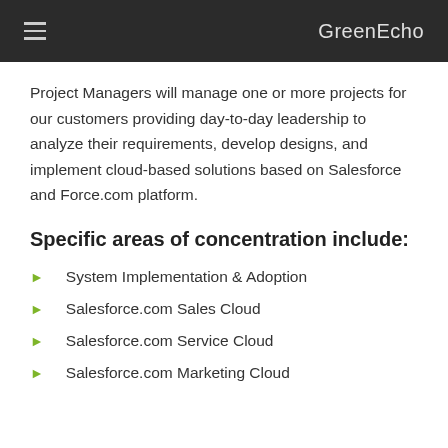GreenEcho
Project Managers will manage one or more projects for our customers providing day-to-day leadership to analyze their requirements, develop designs, and implement cloud-based solutions based on Salesforce and Force.com platform.
Specific areas of concentration include:
System Implementation & Adoption
Salesforce.com Sales Cloud
Salesforce.com Service Cloud
Salesforce.com Marketing Cloud